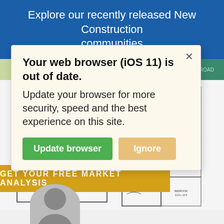Explore our recently released New Construction communities
[Figure (schematic): Two-story house floor plan (Starling model) showing room layouts for both floors]
STARLING
GET YOUR FREE MARKET ANALYSIS
[Figure (screenshot): Browser out-of-date popup dialog with 'Update browser' and 'Ignore' buttons]
Your web browser (iOS 11) is out of date. Update your browser for more security, speed and the best experience on this site.